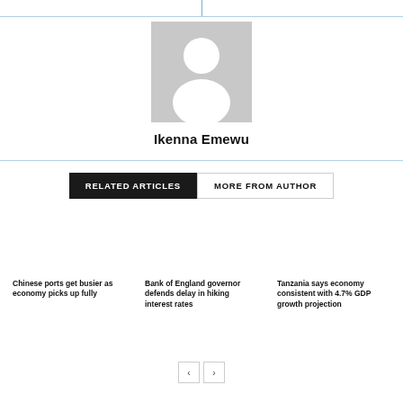[Figure (photo): Generic user avatar placeholder — grey square with white silhouette of a person]
Ikenna Emewu
RELATED ARTICLES
MORE FROM AUTHOR
Chinese ports get busier as economy picks up fully
Bank of England governor defends delay in hiking interest rates
Tanzania says economy consistent with 4.7% GDP growth projection